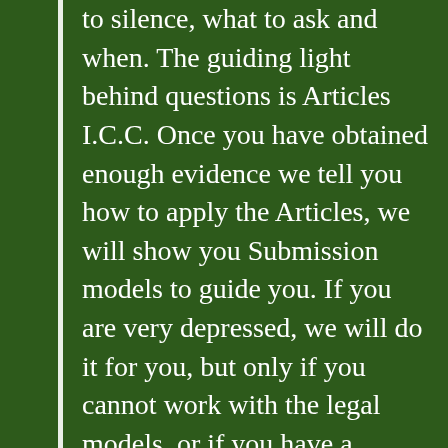to silence, what to ask and when. The guiding light behind questions is Articles I.C.C. Once you have obtained enough evidence we tell you how to apply the Articles, we will show you Submission models to guide you. If you are very depressed, we will do it for you, but only if you cannot work with the legal models, or if you have a reading disability. Please only ask us to do it for you, if really stuck because we are going to be stretched. We will give you legal guidance fact sheets showing Article interpretation and contravention. You can then submit your evidence yourself, (50 documents per case per submission is the limit for the first stage, but you may need to submit more than one Submission for the Pre Trial stage. Our Inspectors and Lawyers can guide you on